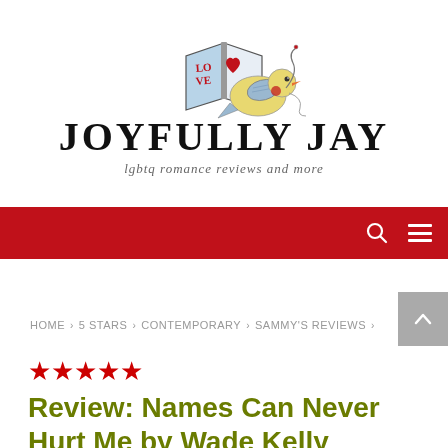[Figure (logo): Joyfully Jay blog logo: a cartoon bird reading a book with a heart, accompanied by the text JOYFULLY JAY and tagline 'lgbtq romance reviews and more']
JOYFULLY JAY lgbtq romance reviews and more
HOME › 5 STARS › CONTEMPORARY › SAMMY'S REVIEWS ›
★★★★★
Review: Names Can Never Hurt Me by Wade Kelly